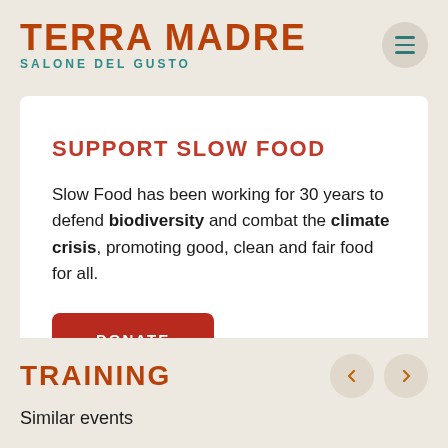TERRA MADRE SALONE DEL GUSTO
SUPPORT SLOW FOOD
Slow Food has been working for 30 years to defend biodiversity and combat the climate crisis, promoting good, clean and fair food for all.
DONATE
TRAINING
Similar events